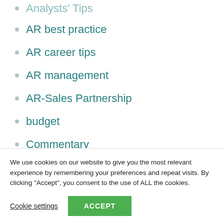Analysts' Tips
AR best practice
AR career tips
AR management
AR-Sales Partnership
budget
Commentary
Glossary
We use cookies on our website to give you the most relevant experience by remembering your preferences and repeat visits. By clicking “Accept”, you consent to the use of ALL the cookies.
Cookie settings
ACCEPT